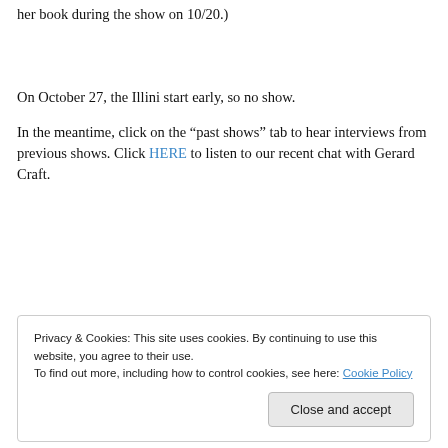her book during the show on 10/20.)
On October 27, the Illini start early, so no show.
In the meantime, click on the “past shows” tab to hear interviews from previous shows. Click HERE to listen to our recent chat with Gerard Craft.
Privacy & Cookies: This site uses cookies. By continuing to use this website, you agree to their use.
To find out more, including how to control cookies, see here: Cookie Policy
Close and accept